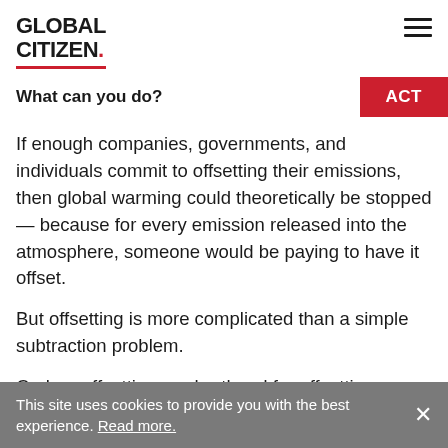GLOBAL CITIZEN.
What can you do?
If enough companies, governments, and individuals commit to offsetting their emissions, then global warming could theoretically be stopped — because for every emission released into the atmosphere, someone would be paying to have it offset.
But offsetting is more complicated than a simple subtraction problem.
Carbon offsetting — shorthand for offsetting
This site uses cookies to provide you with the best experience. Read more.